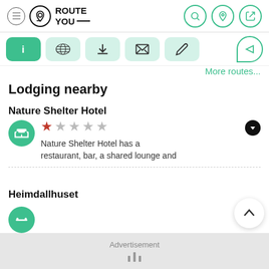[Figure (screenshot): RouteYou app header with logo and navigation icons]
[Figure (screenshot): Toolbar with info, map, download, bookmark, and edit buttons]
More routes...
Lodging nearby
Nature Shelter Hotel
Nature Shelter Hotel has a restaurant, bar, a shared lounge and
Heimdallhuset
Advertisement